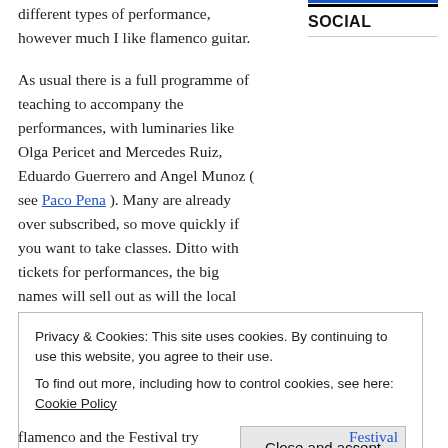different types of performance, however much I like flamenco guitar.
SOCIAL
As usual there is a full programme of teaching to accompany the performances, with luminaries like Olga Pericet and Mercedes Ruiz, Eduardo Guerrero and Angel Munoz ( see Paco Pena ). Many are already over subscribed, so move quickly if you want to take classes. Ditto with tickets for performances, the big names will sell out as will the local favourites ( last year we found ourselves queuing for returns ). My party of Festival goers is already
Privacy & Cookies: This site uses cookies. By continuing to use this website, you agree to their use.
To find out more, including how to control cookies, see here: Cookie Policy
Close and accept
flamenco and the Festival try
Festival